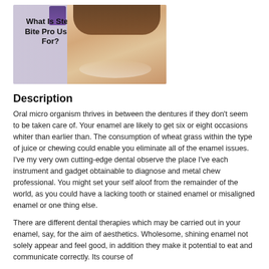[Figure (photo): A smiling woman with brown hair overlaid with bold text reading 'What Is Steel Bite Pro Used For?' on a purple/light background.]
Description
Oral micro organism thrives in between the dentures if they don't seem to be taken care of. Your enamel are likely to get six or eight occasions whiter than earlier than. The consumption of wheat grass within the type of juice or chewing could enable you eliminate all of the enamel issues. I've my very own cutting-edge dental observe the place I've each instrument and gadget obtainable to diagnose and metal chew professional. You might set your self aloof from the remainder of the world, as you could have a lacking tooth or stained enamel or misaligned enamel or one thing else.
There are different dental therapies which may be carried out in your enamel, say, for the aim of aesthetics. Wholesome, shining enamel not solely appear and feel good, in addition they make it potential to eat and communicate correctly. Its course of